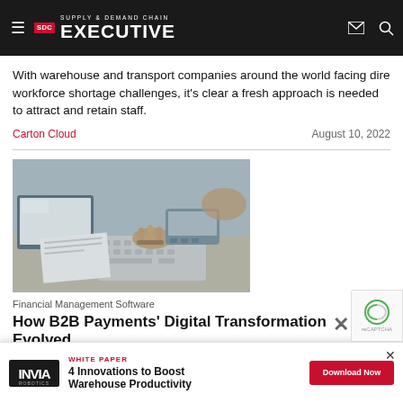Supply & Demand Chain Executive
With warehouse and transport companies around the world facing dire workforce shortage challenges, it's clear a fresh approach is needed to attract and retain staff.
Carton Cloud    August 10, 2022
[Figure (photo): Person typing on a keyboard with a laptop and papers on a desk, financial management context]
Financial Management Software
How B2B Payments' Digital Transformation Evolved...
[Figure (infographic): Advertisement banner: Invia Robotics White Paper - 4 Innovations to Boost Warehouse Productivity, with Download Now button]